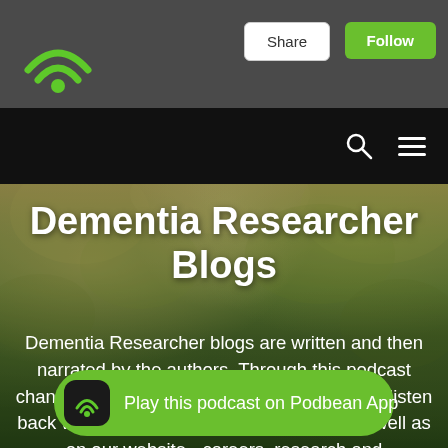[Figure (logo): Podbean WiFi/podcast signal logo in green on dark grey background]
Share
Follow
[Figure (screenshot): Black navigation bar with search icon and hamburger menu icon]
[Figure (photo): Blurred green and yellow tree canopy background image]
Dementia Researcher Blogs
Dementia Researcher blogs are written and then narrated by the authors. Through this podcast channel, we share the narrations, so you can listen back where ever you get your podcasts, as well as on our website - careers, research and
Play this podcast on Podbean App